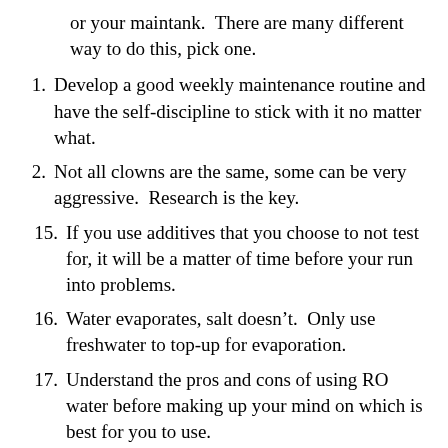or your maintank.  There are many different way to do this, pick one.
1. Develop a good weekly maintenance routine and have the self-discipline to stick with it no matter what.
2. Not all clowns are the same, some can be very aggressive.  Research is the key.
15. If you use additives that you choose to not test for, it will be a matter of time before your run into problems.
16. Water evaporates, salt doesn’t.  Only use freshwater to top-up for evaporation.
17. Understand the pros and cons of using RO water before making up your mind on which is best for you to use.
18. Don’t aim for the minimal, your goal should be the